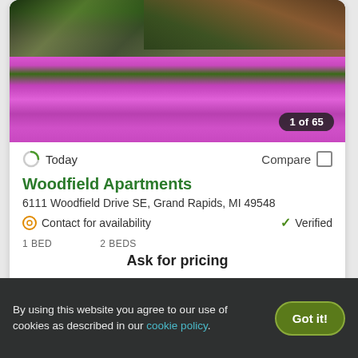[Figure (photo): Photo of apartment complex landscaping with pink/magenta flowering ground cover and green shrubs, with '1 of 65' badge overlay]
Today
Compare
Woodfield Apartments
6111 Woodfield Drive SE, Grand Rapids, MI 49548
Contact for availability
Verified
1 BED    2 BEDS
Ask for pricing
View Details
Contact Property
Top Rated for Location
By using this website you agree to our use of cookies as described in our cookie policy.
Got it!